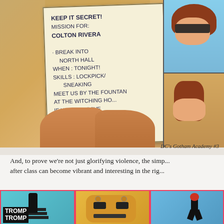[Figure (illustration): Comic panel from DC's Gotham Academy #3 showing hands holding a crumpled note that reads 'KEEP IT SECRET! MISSION FOR: COLTON RIVERA - BREAK INTO NORTH HALL WHEN: TONIGHT! SKILLS: LOCKPICK/ SNEAKING MEET US BY THE FOUNTAIN AT THE WITCHING HOUR IF YOU'RE BRAVE'. A character with sunglasses and brown hair is visible in the top-right panel, and another character is partially visible in the bottom-right panel.]
DC's Gotham Academy #3
And, to prove we're not just glorifying violence, the simple act of sneaking around after class can become vibrant and interesting in the right hands.
[Figure (illustration): Comic panels showing action sequences. Left panel: figure on stairs with 'TROMP TROMP' sound effect text in black on white label. Middle panel: close-up of a villain or robot face in orange/gold tones. Right panel: figure running in blue toned panel.]